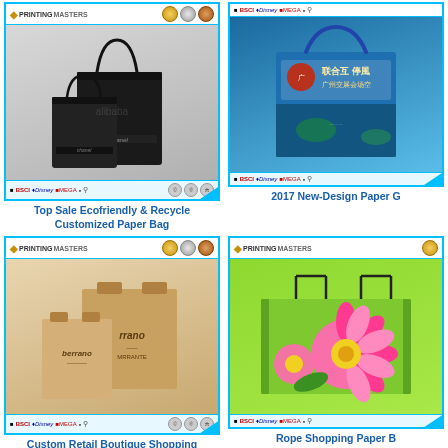[Figure (photo): Two black paper bags with rope handles (luxury style), product listing image with BSCI Disney MEGA certifications shown at bottom]
Top Sale Ecofriendly & Recycle Customized Paper Bag
[Figure (photo): Blue decorative paper gift bag with Chinese text and ocean underwater scene, product listing with BSCI Disney MEGA certifications]
2017 New-Design Paper G
[Figure (photo): Kraft brown paper shopping bags with flat handles branded 'rrano' and 'berrano', product listing with BSCI Disney MEGA certifications]
Custom Retail Boutique Shopping Bags
[Figure (photo): Green paper shopping bag with colorful pink flower design and rope handle, product listing with BSCI Disney MEGA certifications]
Rope Shopping Paper B Design